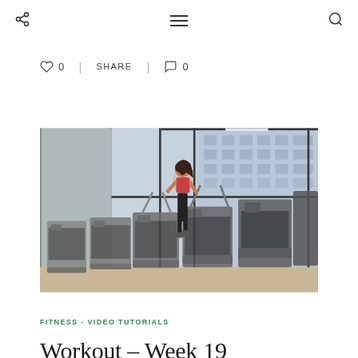Navigation bar with share icon, hamburger menu, and search icon
♡ 0  |  SHARE  |  ◯ 0
[Figure (photo): Woman in red sports top and black leggings standing on a treadmill in a modern gym with large windows and rows of treadmills]
FITNESS - VIDEO TUTORIALS
Workout – Week 19